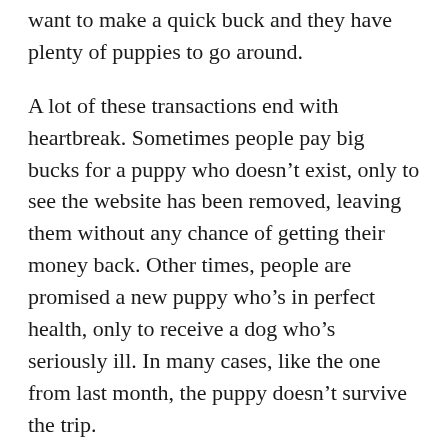want to make a quick buck and they have plenty of puppies to go around.
A lot of these transactions end with heartbreak. Sometimes people pay big bucks for a puppy who doesn’t exist, only to see the website has been removed, leaving them without any chance of getting their money back. Other times, people are promised a new puppy who’s in perfect health, only to receive a dog who’s seriously ill. In many cases, like the one from last month, the puppy doesn’t survive the trip.
These stories are reminders that buying a dog online is a big risk. Even if a puppy survives the transport, how can you tell if the seller you met online is a responsible, caring dog breeder or a